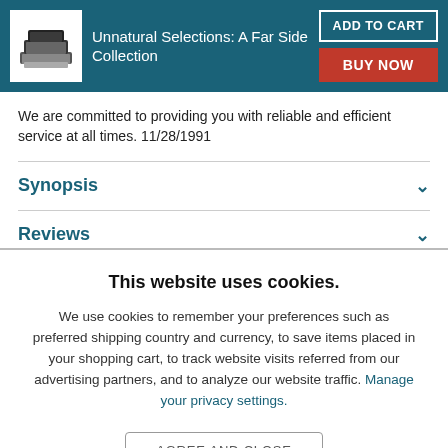[Figure (illustration): Book cover image for Unnatural Selections: A Far Side Collection, showing stacked books graphic on white background]
Unnatural Selections: A Far Side Collection
ADD TO CART
BUY NOW
We are committed to providing you with reliable and efficient service at all times. 11/28/1991
Synopsis
Reviews
This website uses cookies.
We use cookies to remember your preferences such as preferred shipping country and currency, to save items placed in your shopping cart, to track website visits referred from our advertising partners, and to analyze our website traffic. Manage your privacy settings.
AGREE AND CLOSE